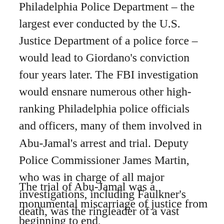Philadelphia Police Department – the largest ever conducted by the U.S. Justice Department of a police force – would lead to Giordano's conviction four years later. The FBI investigation would ensnare numerous other high-ranking Philadelphia police officials and officers, many of them involved in Abu-Jamal's arrest and trial. Deputy Police Commissioner James Martin, who was in charge of all major investigations, including Faulkner's death, was the ringleader of a vast extortion enterprise operating in City Center.)
The trial of Abu-Jamal was a monumental miscarriage of justice from beginning to end,